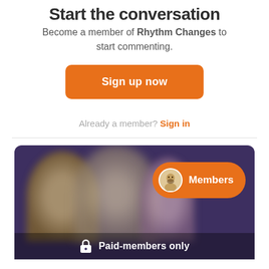Start the conversation
Become a member of Rhythm Changes to start commenting.
Sign up now
Already a member? Sign in
[Figure (photo): Dark purple-toned blurred image of musicians with an orange 'Members' button overlay and a 'Paid-members only' label at the bottom]